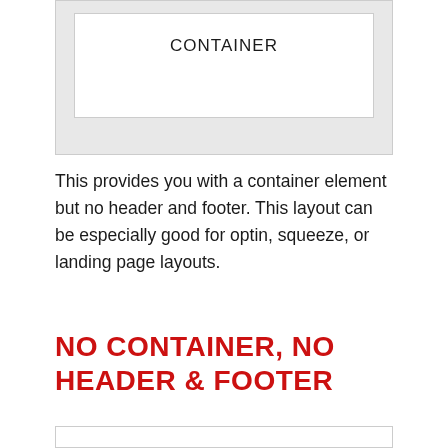[Figure (illustration): A diagram showing a gray outer container box with a white inner container box labeled 'CONTAINER' in the center-top area]
This provides you with a container element but no header and footer. This layout can be especially good for optin, squeeze, or landing page layouts.
NO CONTAINER, NO HEADER & FOOTER